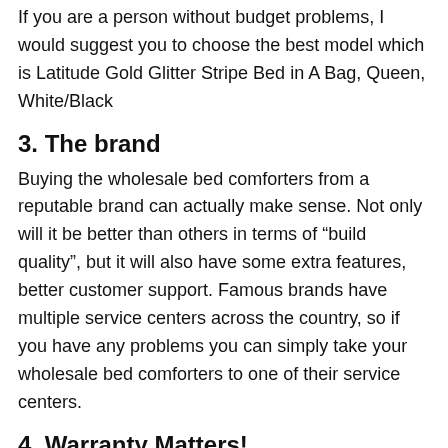If you are a person without budget problems, I would suggest you to choose the best model which is Latitude Gold Glitter Stripe Bed in A Bag, Queen, White/Black
3. The brand
Buying the wholesale bed comforters from a reputable brand can actually make sense. Not only will it be better than others in terms of “build quality”, but it will also have some extra features, better customer support. Famous brands have multiple service centers across the country, so if you have any problems you can simply take your wholesale bed comforters to one of their service centers.
4. Warranty Matters!
When you buy a wholesale bed comforters from a well-known brand, you will get a guarantee. Low-cost products also come with warranties, but the claim process could be tougher. That’s why I always suggest you buy the product from a reputed brand and the one that comes under